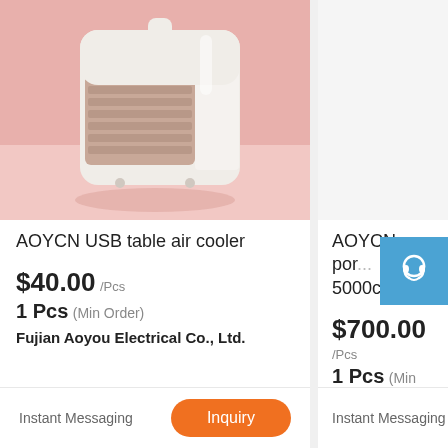[Figure (photo): AOYCN USB table air cooler product photo - small white and tan/brown portable air cooler on pink background]
AOYCN USB table air cooler
$40.00 /Pcs
1 Pcs (Min Order)
Fujian Aoyou Electrical Co., Ltd.
Instant Messaging
Inquiry
AOYCN por... 5000cmh
$700.00 /Pcs
1 Pcs (Min Order)
Fujian Aoyou Elect...
Instant Messaging